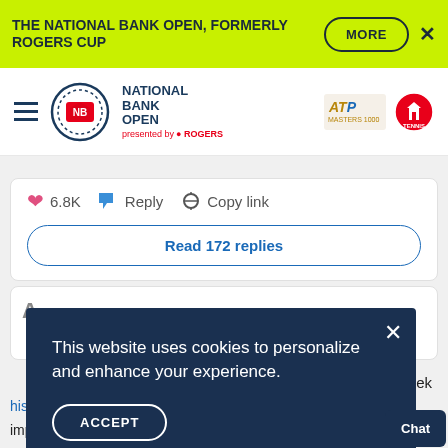THE NATIONAL BANK OPEN, FORMERLY ROGERS CUP
[Figure (logo): National Bank Open presented by Rogers logo with ATP 1000 and Tennis Canada logos]
6.8K  Reply  Copy link
Read 172 replies
This website uses cookies to personalize and enhance your experience.
ACCEPT
Policies
eek
ONP
his a million performances already, combined with impressive performances of the other top...
Chat